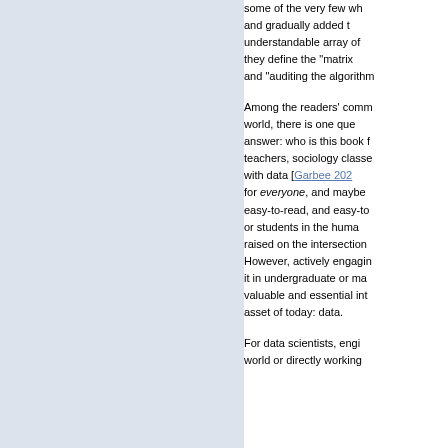some of the very few wh... and gradually added t... understandable array of ... they define the "matrix... and "auditing the algorithm...
Among the readers' comm... world, there is one que... answer: who is this book ... teachers, sociology classe... with data [Garbee 202... for everyone, and maybe... easy-to-read, and easy-to... or students in the huma... raised on the intersection... However, actively engagin... it in undergraduate or ma... valuable and essential int... asset of today: data.
For data scientists, engi... world or directly working...